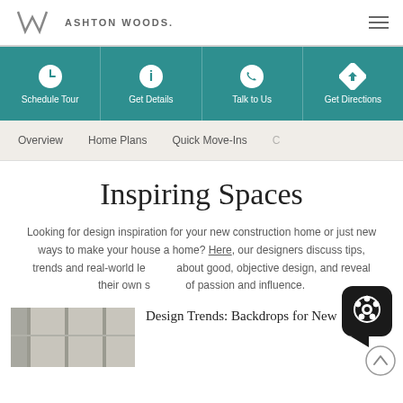ASHTON WOODS.
[Figure (infographic): Teal navigation bar with four icon+label buttons: Schedule Tour (clock icon), Get Details (info icon), Talk to Us (phone icon), Get Directions (arrow/direction icon)]
Overview
Home Plans
Quick Move-Ins
Inspiring Spaces
Looking for design inspiration for your new construction home or just new ways to make your house a home? Here, our designers discuss tips, trends and real-world lessons about good, objective design, and reveal their own sources of passion and influence.
[Figure (photo): Partial photo of a room interior with sliding or panel doors in gray/neutral tones]
Design Trends: Backdrops for New